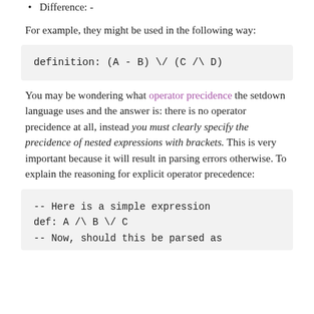Difference: -
For example, they might be used in the following way:
You may be wondering what operator precidence the setdown language uses and the answer is: there is no operator precidence at all, instead you must clearly specify the precidence of nested expressions with brackets. This is very important because it will result in parsing errors otherwise. To explain the reasoning for explicit operator precedence: